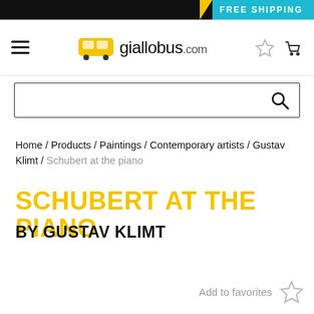FREE SHIPPING
[Figure (logo): Giallobus.com logo with yellow bus icon and hamburger menu, star and cart icons]
[Figure (screenshot): Search bar with magnifying glass icon]
Home / Products / Paintings / Contemporary artists / Gustav Klimt / Schubert at the piano
SCHUBERT AT THE PIANO
BY GUSTAV KLIMT
Add to favorites